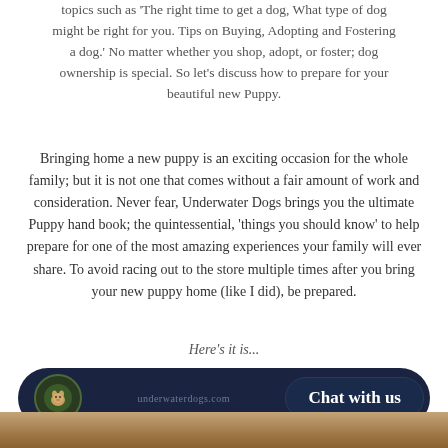topics such as 'The right time to get a dog, What type of dog might be right for you. Tips on Buying, Adopting and Fostering a dog.' No matter whether you shop, adopt, or foster; dog ownership is special. So let's discuss how to prepare for your beautiful new Puppy.
Bringing home a new puppy is an exciting occasion for the whole family; but it is not one that comes without a fair amount of work and consideration. Never fear, Underwater Dogs brings you the ultimate Puppy hand book; the quintessential, 'things you should know' to help prepare for one of the most amazing experiences your family will ever share. To avoid racing out to the store multiple times after you bring your new puppy home (like I did), be prepared.
Here's it is...
[Figure (screenshot): A dark navy chat bar widget with a dog icon on the left, small text in the middle, and a 'Chat with us' button on the right.]
[Figure (photo): Bottom strip showing the top portion of a dog photo with warm brown tones.]